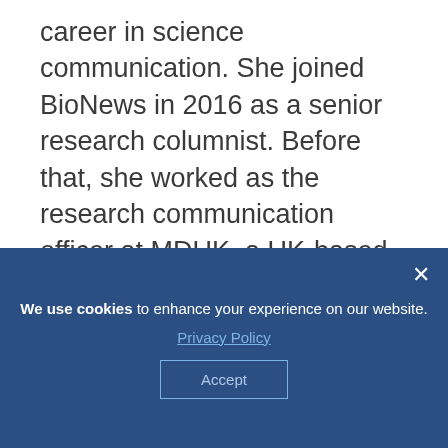career in science communication. She joined BioNews in 2016 as a senior research columnist. Before that, she worked as the research communication officer at MDUK, a UK-based charity that supports people living with muscle-wasting condition and their family and friends. She became the managing editor of landing pages in 2017.
Writers
We use cookies to enhance your experience on our website. Privacy Policy Accept